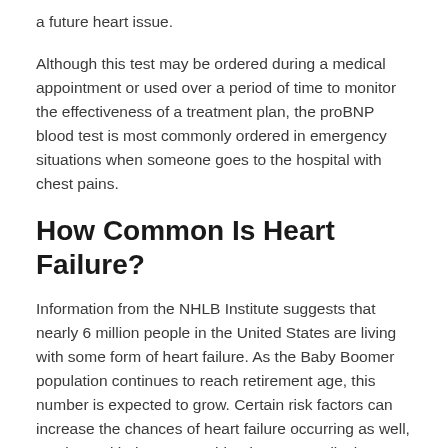a future heart issue.
Although this test may be ordered during a medical appointment or used over a period of time to monitor the effectiveness of a treatment plan, the proBNP blood test is most commonly ordered in emergency situations when someone goes to the hospital with chest pains.
How Common Is Heart Failure?
Information from the NHLB Institute suggests that nearly 6 million people in the United States are living with some form of heart failure. As the Baby Boomer population continues to reach retirement age, this number is expected to grow. Certain risk factors can increase the chances of heart failure occurring as well, so along with the proBNP blood test, a medical provider may make certain recommendations.